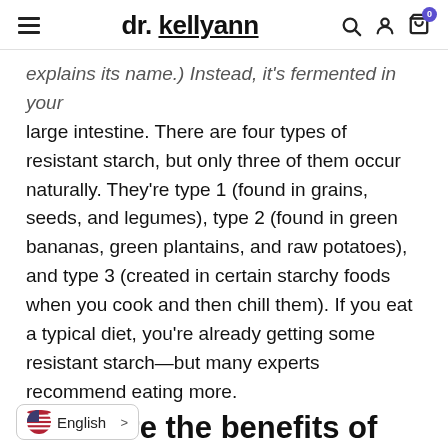dr. kellyann
explains its name.) Instead, it's fermented in your large intestine. There are four types of resistant starch, but only three of them occur naturally. They're type 1 (found in grains, seeds, and legumes), type 2 (found in green bananas, green plantains, and raw potatoes), and type 3 (created in certain starchy foods when you cook and then chill them). If you eat a typical diet, you're already getting some resistant starch—but many experts recommend eating more.
What are the benefits of